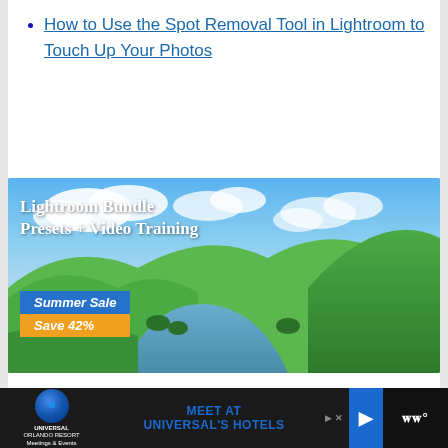How to Use the Spot Removal Tool in Lightroom to Touch Up Your Photos
[Figure (photo): Advertisement image for Lightroom Bundle Presets + Video Training showing a tropical landscape with green hills, river, and blue sky with clouds. Overlaid text: 'Lightroom Bundle Presets + Video Training', 'Summer Sale', 'Save 42%']
Shares
[Figure (screenshot): Bottom advertisement bar for Universal Orlando Resort Meetings & Events showing 'MEET AT UNIVERSAL'S HOTELS' with Universal globe logo, navigation arrow, and media player icon]